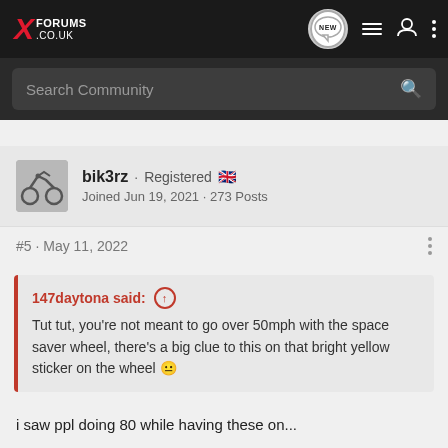XE FORUMS .CO.UK
Search Community
bik3rz · Registered 🇬🇧
Joined Jun 19, 2021 · 273 Posts
#5 · May 11, 2022
147daytona said: ↑
Tut tut, you're not meant to go over 50mph with the space saver wheel, there's a big clue to this on that bright yellow sticker on the wheel 😐
i saw ppl doing 80 while having these on...